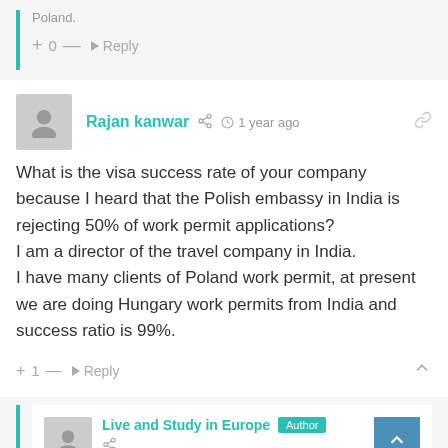Poland.
+ 0 — Reply
Rajan kanwar · 1 year ago
What is the visa success rate of your company because I heard that the Polish embassy in India is rejecting 50% of work permit applications?
I am a director of the travel company in India.
I have many clients of Poland work permit, at present we are doing Hungary work permits from India and success ratio is 99%.
+ 1 — Reply
Live and Study in Europe · Author
Reply to: Rajan kanwar · 1 year ago